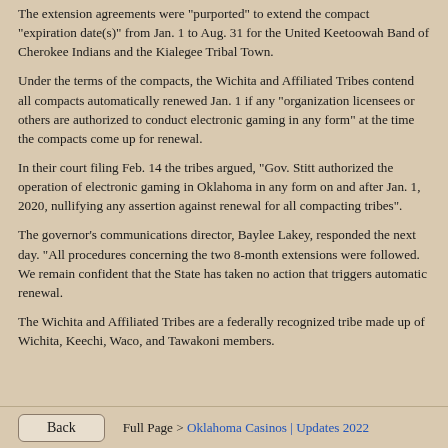The extension agreements were "purported" to extend the compact "expiration date(s)" from Jan. 1 to Aug. 31 for the United Keetoowah Band of Cherokee Indians and the Kialegee Tribal Town.
Under the terms of the compacts, the Wichita and Affiliated Tribes contend all compacts automatically renewed Jan. 1 if any "organization licensees or others are authorized to conduct electronic gaming in any form" at the time the compacts come up for renewal.
In their court filing Feb. 14 the tribes argued, "Gov. Stitt authorized the operation of electronic gaming in Oklahoma in any form on and after Jan. 1, 2020, nullifying any assertion against renewal for all compacting tribes".
The governor's communications director, Baylee Lakey, responded the next day. "All procedures concerning the two 8-month extensions were followed. We remain confident that the State has taken no action that triggers automatic renewal.
The Wichita and Affiliated Tribes are a federally recognized tribe made up of Wichita, Keechi, Waco, and Tawakoni members.
Back    Full Page > Oklahoma Casinos | Updates 2022